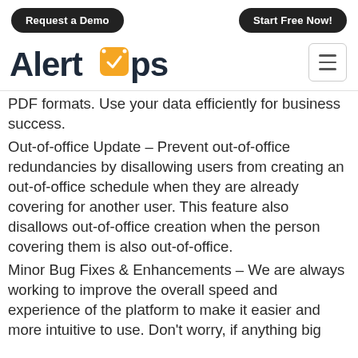Request a Demo | Start Free Now!
[Figure (logo): AlertOps logo with orange clock icon replacing the 'o' in 'ops']
PDF formats. Use your data efficiently for business success.
Out-of-office Update – Prevent out-of-office redundancies by disallowing users from creating an out-of-office schedule when they are already covering for another user. This feature also disallows out-of-office creation when the person covering them is also out-of-office.
Minor Bug Fixes & Enhancements – We are always working to improve the overall speed and experience of the platform to make it easier and more intuitive to use. Don't worry, if anything big